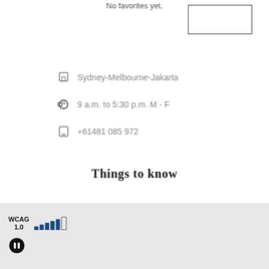No favorites yet.
[Figure (other): Empty outlined rectangle button/box in top right area]
Sydney-Melbourne-Jakarta
9 a.m. to 5:30 p.m. M - F
+61481 085 972
Things to know
[Figure (infographic): Footer bar with WCAG 1.0 label, signal strength bar chart icon, and pause button icon]